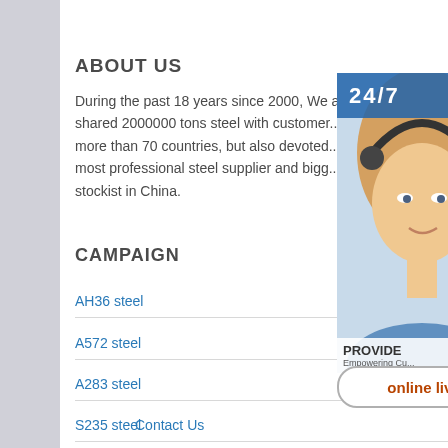ABOUT US
During the past 18 years since 2000, We a... shared 2000000 tons steel with customers more than 70 countries, but also devoted... most professional steel supplier and bigg... stockist in China.
CAMPAIGN
AH36 steel
A572 steel
A283 steel
S235 steel
Contact Us
[Figure (infographic): Customer service widget overlay showing a woman with headset, 24/7 label, online support icons (headset, phone, Skype), and 'online live' button]